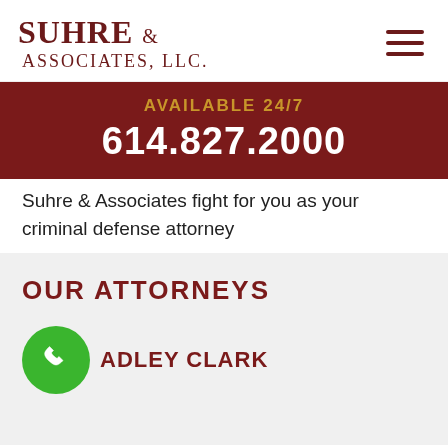[Figure (logo): Suhre & Associates, LLC law firm logo with hamburger menu icon]
AVAILABLE 24/7
614.827.2000
Suhre & Associates fight for you as your criminal defense attorney
OUR ATTORNEYS
ADLEY CLARK